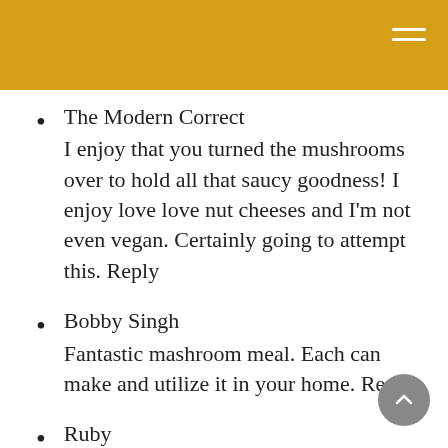The Modern Correct
I enjoy that you turned the mushrooms over to hold all that saucy goodness! I enjoy love love nut cheeses and I'm not even vegan. Certainly going to attempt this. Reply
Bobby Singh
Fantastic mashroom meal. Each can make and utilize it in your home. Reply
Ruby
I have actually absolutely had a comparable experience with unfortunate